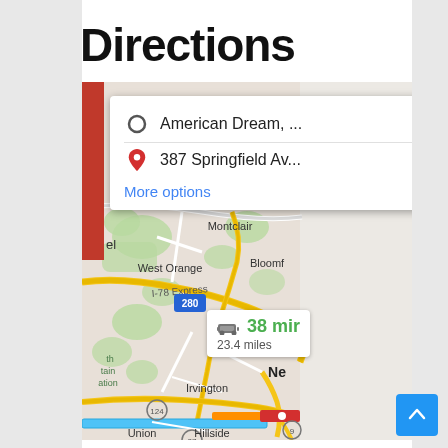Directions
[Figure (screenshot): Google Maps screenshot showing directions from American Dream to 387 Springfield Av, with a map view of the NJ area including Montclair, West Orange, Bloomfield, East Orange, Irvington, Union, Hillside. A route duration badge shows 38 min / 23.4 miles. A directions card at the top shows origin 'American Dream, ...' and destination '387 Springfield Av...' with a 'More options' link.]